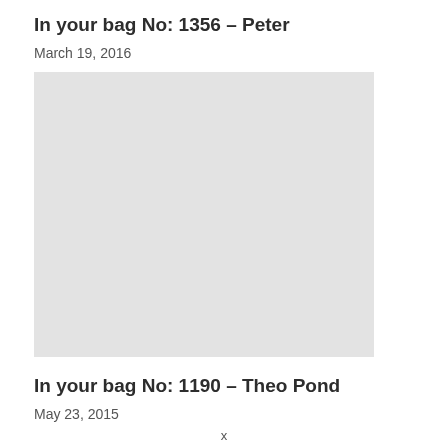In your bag No: 1356 – Peter
March 19, 2016
[Figure (photo): Placeholder grey rectangle representing a photo of bag contents]
In your bag No: 1190 – Theo Pond
May 23, 2015
x